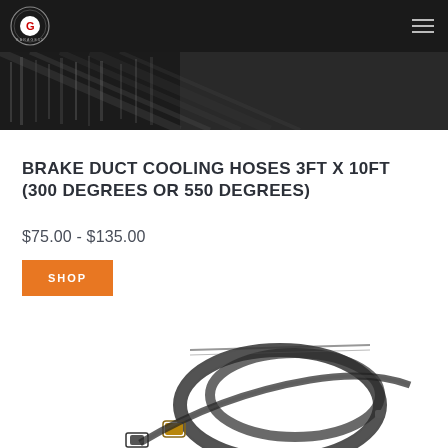Garage55 logo and navigation menu
[Figure (photo): Partial product image showing dark fabric/hose material with diagonal pattern, cropped at top of page]
BRAKE DUCT COOLING HOSES 3FT X 10FT (300 DEGREES OR 550 DEGREES)
$75.00 - $135.00
SHOP
[Figure (photo): Bottom portion of brake duct cooling hose product image showing black hose with brass fittings and connectors on white background]